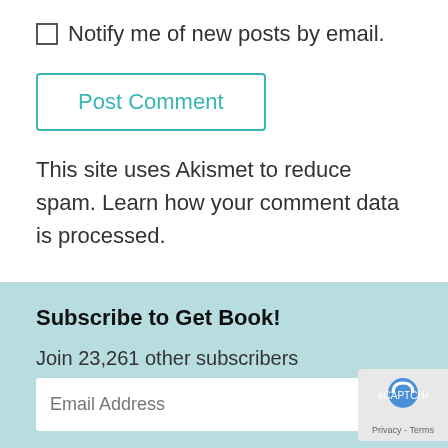Notify me of new posts by email.
Post Comment
This site uses Akismet to reduce spam. Learn how your comment data is processed.
Subscribe to Get Book!
Join 23,261 other subscribers
Email Address